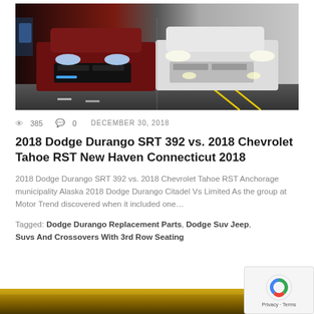[Figure (photo): Front view of two SUVs side by side — red/dark Dodge Durango SRT on the left and white Dodge/Chevrolet on the right, on a road at night]
385   0   DECEMBER 30, 2018
2018 Dodge Durango SRT 392 vs. 2018 Chevrolet Tahoe RST New Haven Connecticut 2018
2018 Dodge Durango SRT 392 vs. 2018 Chevrolet Tahoe RST Anchorage municipality Alaska 2018 Dodge Durango Citadel Vs Limited As the group at Motor Trend discovered when it included one…
Tagged: Dodge Durango Replacement Parts, Dodge Suv Jeep, Suvs And Crossovers With 3rd Row Seating
[Figure (photo): Partial bottom image showing golden/warm tones, appears to be another vehicle or automotive related photo]